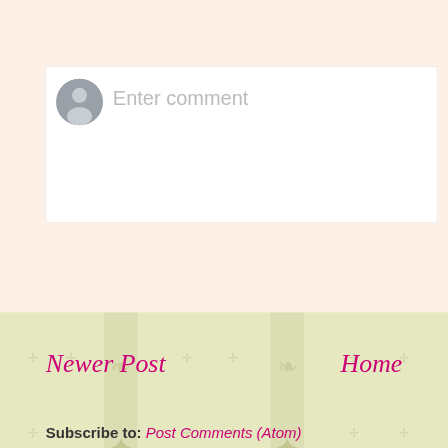[Figure (screenshot): Comment input box with grey avatar icon and 'Enter comment' placeholder text on a light peach background]
Newer Post
Home
Subscribe to: Post Comments (Atom)
Watermark t